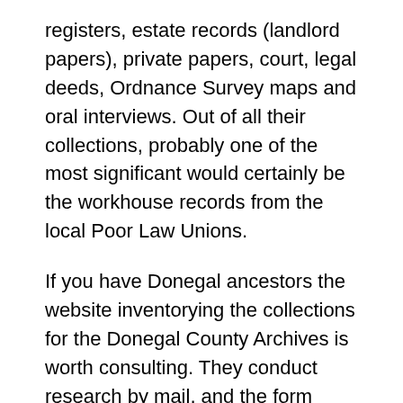registers, estate records (landlord papers), private papers, court, legal deeds, Ordnance Survey maps and oral interviews. Out of all their collections, probably one of the most significant would certainly be the workhouse records from the local Poor Law Unions.
If you have Donegal ancestors the website inventorying the collections for the Donegal County Archives is worth consulting. They conduct research by mail, and the form isonline. You can also visit the archive by appointment. Information to arrange a visit is also on the website.
As any family historian with Donegal roots knows, the church registers tend to begin late. This